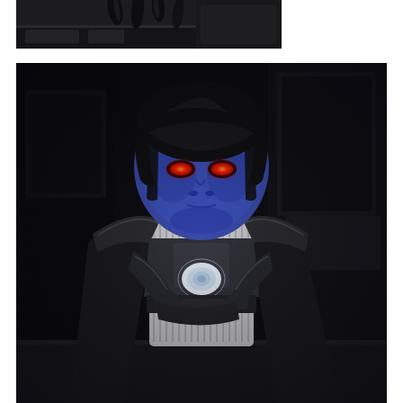[Figure (photo): Top cropped image showing dark sci-fi background with black robotic or mechanical legs/tentacles visible at the top against a dark panel background]
[Figure (photo): Large screenshot from a video game (Star Wars: The Old Republic) showing a blue-skinned humanoid character with glowing red eyes, black bowl-cut hair, wearing silver and black armor/chest piece with crossed arms, standing in a dark sci-fi interior environment]